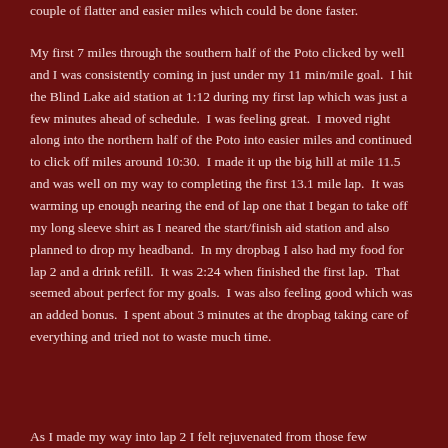couple of flatter and easier miles which could be done faster.
My first 7 miles through the southern half of the Poto clicked by well and I was consistently coming in just under my 11 min/mile goal.  I hit the Blind Lake aid station at 1:12 during my first lap which was just a few minutes ahead of schedule.  I was feeling great.  I moved right along into the northern half of the Poto into easier miles and continued to click off miles around 10:30.  I made it up the big hill at mile 11.5 and was well on my way to completing the first 13.1 mile lap.  It was warming up enough nearing the end of lap one that I began to take off my long sleeve shirt as I neared the start/finish aid station and also planned to drop my headband.  In my dropbag I also had my food for lap 2 and a drink refill.  It was 2:24 when finished the first lap.  That seemed about perfect for my goals.  I was also feeling good which was an added bonus.  I spent about 3 minutes at the dropbag taking care of everything and tried not to waste much time.
As I made my way into lap 2 I felt rejuvenated from those few